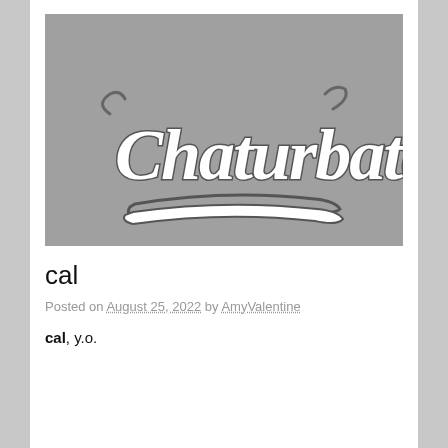[Figure (logo): Chaturbate logo on gray background]
cal
Posted on August 25, 2022 by AmyValentine
cal, y.o.